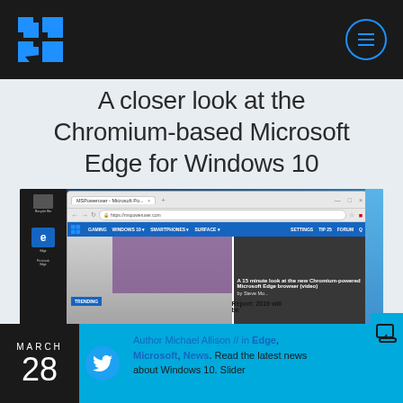[Figure (screenshot): Windows logo in blue tiles on dark header bar]
A closer look at the Chromium-based Microsoft Edge for Windows 10
[Figure (screenshot): Screenshot of Chromium-based Microsoft Edge browser running on Windows 10 desktop showing MSPoweruser website]
MARCH 28
Author Michael Allison // in Edge, Microsoft, News. Read the latest news about Windows 10. Slider